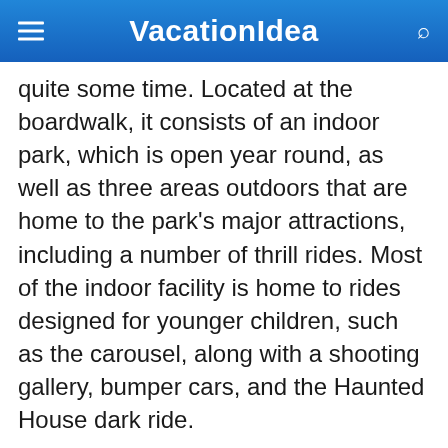VacationIdea
quite some time. Located at the boardwalk, it consists of an indoor park, which is open year round, as well as three areas outdoors that are home to the park’s major attractions, including a number of thrill rides. Most of the indoor facility is home to rides designed for younger children, such as the carousel, along with a shooting gallery, bumper cars, and the Haunted House dark ride.
700 S. Atlantic Avenue, Ocean City, MD 20721, Phone: 410-289-8617